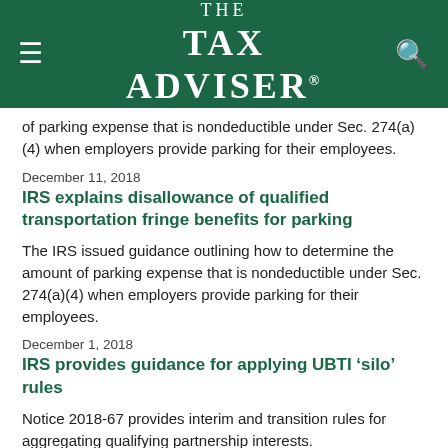THE TAX ADVISER
of parking expense that is nondeductible under Sec. 274(a)(4) when employers provide parking for their employees.
December 11, 2018
IRS explains disallowance of qualified transportation fringe benefits for parking
The IRS issued guidance outlining how to determine the amount of parking expense that is nondeductible under Sec. 274(a)(4) when employers provide parking for their employees.
December 1, 2018
IRS provides guidance for applying UBTI ‘silo’ rules
Notice 2018-67 provides interim and transition rules for aggregating qualifying partnership interests.
July 1, 2017